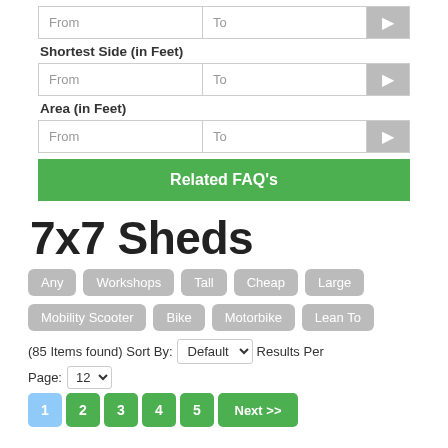From | To | >
Shortest Side (in Feet)
From | To | >
Area (in Feet)
From | To | >
Related FAQ's
7x7 Sheds
Any
Workshops
Tall
Cheap
Large
Mobility Scooter
Bike
Motorbike
Lean To
(85 Items found) Sort By: Default ✓  Results Per Page: 12
1  2  3  4  5  Next >>